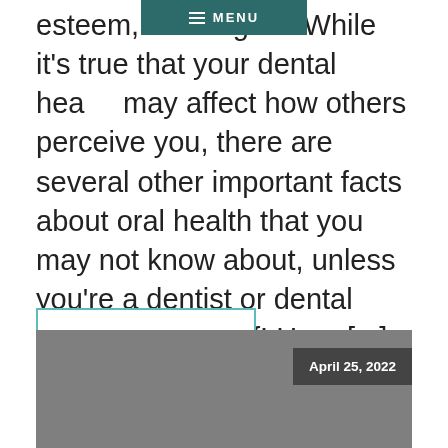esteem, think again. While it's true that your dental health may affect how others perceive you, there are several other important facts about oral health that you may not know about, unless you're a dentist or dental hygienist yourself! Here [...]
READ MORE
[Figure (photo): Gray placeholder image block with a dark date badge reading 'April 25, 2022' in the upper right corner]